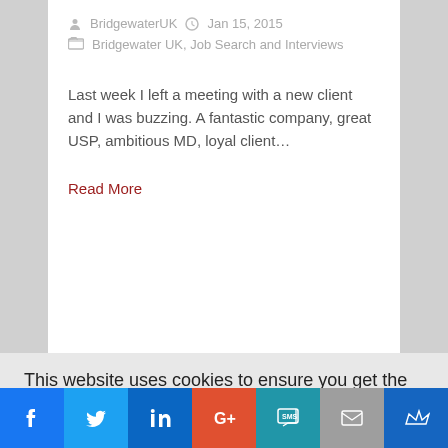BridgewaterUK   Jan 15, 2015
Bridgewater UK, Job Search and Interviews
Last week I left a meeting with a new client and I was buzzing. A fantastic company, great USP, ambitious MD, loyal client…
Read More
This website uses cookies to ensure you get the best experience on our website. Read more
Got it!